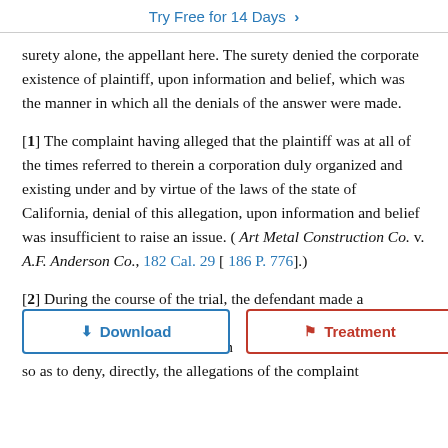Try Free for 14 Days >
surety alone, the appellant here. The surety denied the corporate existence of plaintiff, upon information and belief, which was the manner in which all the denials of the answer were made.
[1] The complaint having alleged that the plaintiff was at all of the times referred to therein a corporation duly organized and existing under and by virtue of the laws of the state of California, denial of this allegation, upon information and belief was insufficient to raise an issue. ( Art Metal Construction Co. v. A.F. Anderson Co., 182 Cal. 29 [ 186 P. 776].)
[2] During the course of the trial, the defendant made a motion as[...] m[...] answer so as to deny, directly, the allegations of the complaint